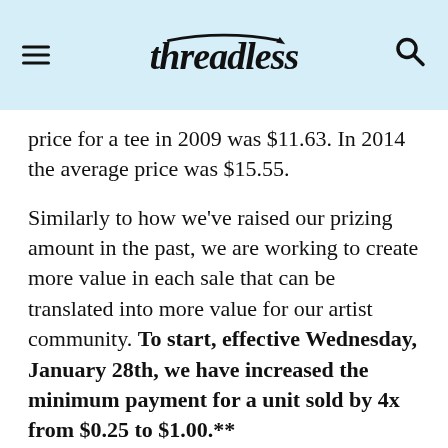Threadless
price for a tee in 2009 was $11.63. In 2014 the average price was $15.55.
Similarly to how we've raised our prizing amount in the past, we are working to create more value in each sale that can be translated into more value for our artist community. To start, effective Wednesday, January 28th, we have increased the minimum payment for a unit sold by 4x from $0.25 to $1.00.**
Thanks for the ongoing feedback everyone. We value and take all your opinions to heart. This past year has been a big transition for many of